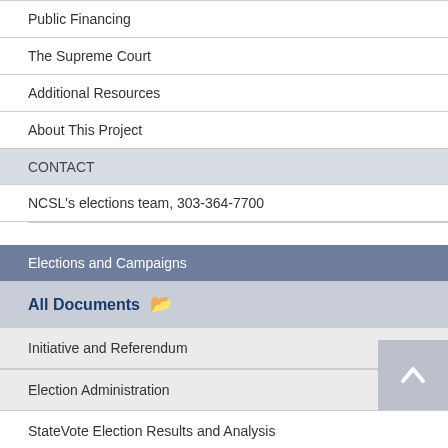Public Financing
The Supreme Court
Additional Resources
About This Project
CONTACT
NCSL's elections team, 303-364-7700
Elections and Campaigns
All Documents
Initiative and Referendum
Election Administration
StateVote Election Results and Analysis